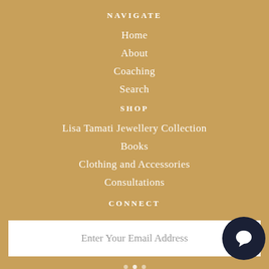NAVIGATE
Home
About
Coaching
Search
SHOP
Lisa Tamati Jewellery Collection
Books
Clothing and Accessories
Consultations
CONNECT
Enter Your Email Address